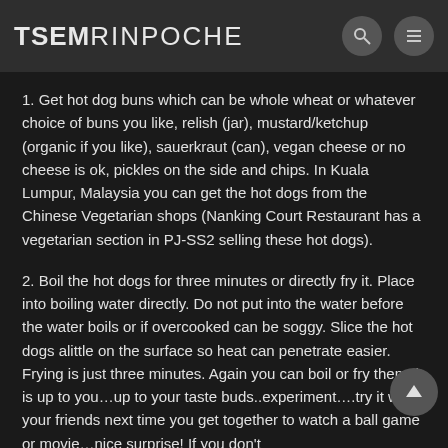TSEM RINPOCHE
1. Get hot dog buns which can be whole wheat or whatever choice of buns you like, relish (jar), mustard/ketchup (organic if you like), sauerkraut (can), vegan cheese or no cheese is ok, pickles on the side and chips. In Kuala Lumpur, Malaysia you can get the hot dogs from the Chinese Vegetarian shops (Nanking Court Restaurant has a vegetarian section in PJ-SS2 selling these hot dogs).
2. Boil the hot dogs for three minutes or directly fry it. Place into boiling water directly. Do not put into the water before the water boils or if overcooked can be soggy. Slice the hot dogs alittle on the surface so heat can penetrate easier. Frying is just three minutes. Again you can boil or fry them..it is up to you…up to your taste buds..experiment….try it with your friends next time you get together to watch a ball game or movie…nice surprise! If you don't